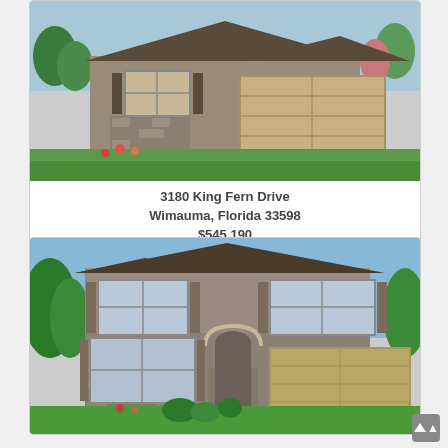[Figure (photo): Exterior rendering of a single-story house with stone accents, two-car garage, and landscaping at 3180 King Fern Drive]
3180 King Fern Drive
Wimauma, Florida 33598
$545,190
[Figure (photo): Exterior rendering of a two-story house with stone accents, two-car garage, and landscaping]